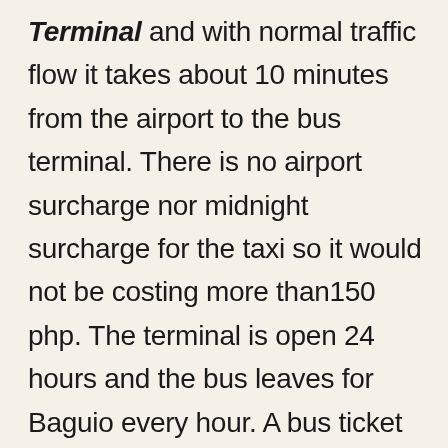Terminal and with normal traffic flow it takes about 10 minutes from the airport to the bus terminal. There is no airport surcharge nor midnight surcharge for the taxi so it would not be costing more than150 php. The terminal is open 24 hours and the bus leaves for Baguio every hour. A bus ticket costs about 500 php and travel time is about 6 hours.You can also choose their De Luxe alternative – an express bus that is more expensive...